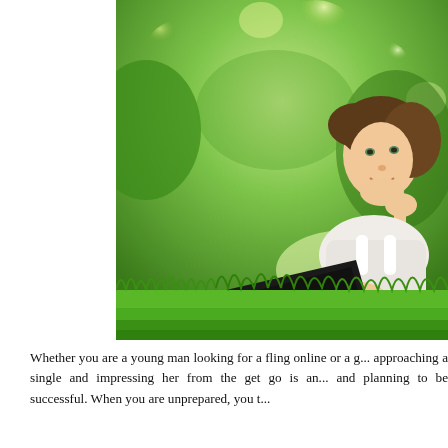[Figure (photo): A young woman lying on green grass in an outdoor park setting, smiling and resting her chin on her hand, with a laptop open in front of her. Background is blurred green foliage.]
Whether you are a young man looking for a fling online or a g... approaching a single and impressing her from the get go is an... and planning to be successful. When you are unprepared, you t...